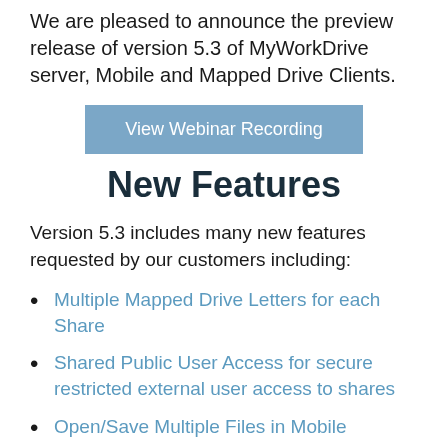We are pleased to announce the preview release of version 5.3 of MyWorkDrive server, Mobile and Mapped Drive Clients.
[Figure (other): Blue button labeled 'View Webinar Recording']
New Features
Version 5.3 includes many new features requested by our customers including:
Multiple Mapped Drive Letters for each Share
Shared Public User Access for secure restricted external user access to shares
Open/Save Multiple Files in Mobile